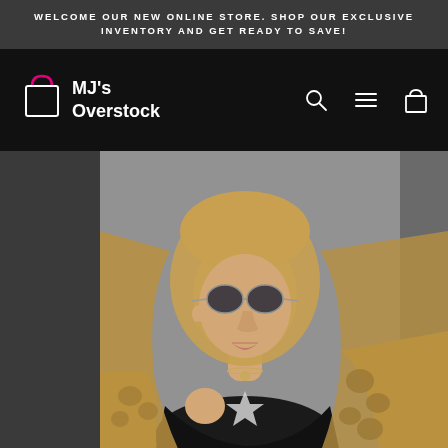WELCOME OUR NEW ONLINE STORE. SHOP OUR EXCLUSIVE INVENTORY AND GET READY TO SAVE!
[Figure (logo): MJ's Overstock logo with shopping bag icon in pink/white on black background, with search, menu, and cart icons on the right]
[Figure (photo): A young blonde woman wearing sunglasses, a black top with a star patch, and a leopard print jacket, photographed against a grey wall]